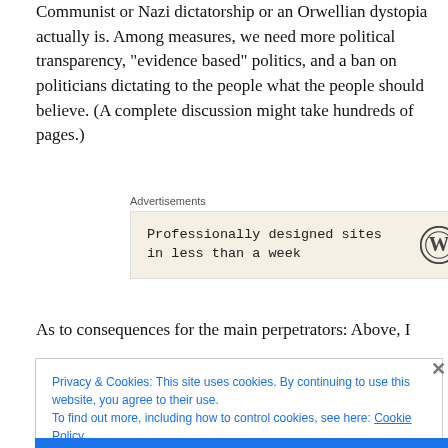Communist or Nazi dictatorship or an Orwellian dystopia actually is. Among measures, we need more political transparency, “evidence based” politics, and a ban on politicians dictating to the people what the people should believe. (A complete discussion might take hundreds of pages.)
[Figure (other): WordPress advertisement banner with text 'Professionally designed sites in less than a week' and WordPress logo]
As to consequences for the main perpetrators: Above, I
Privacy & Cookies: This site uses cookies. By continuing to use this website, you agree to their use.
To find out more, including how to control cookies, see here: Cookie Policy